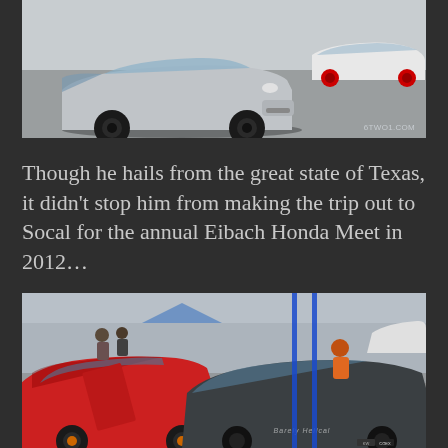[Figure (photo): Front view of a silver Honda Civic (EG hatch) on black wheels at a car show, with a white Honda in the background. Watermark reads 6TWO1.COM]
Though he hails from the great state of Texas, it didn’t stop him from making the trip out to Socal for the annual Eibach Honda Meet in 2012…
[Figure (photo): Crowded car show parking lot scene with multiple Honda Civics including a red hatch and a dark/grey hatch in the foreground, with people walking among the cars at the Eibach Honda Meet 2012.]